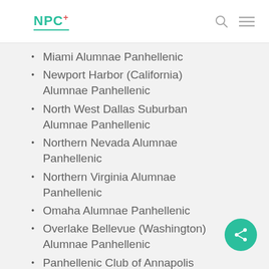NPC
Miami Alumnae Panhellenic
Newport Harbor (California) Alumnae Panhellenic
North West Dallas Suburban Alumnae Panhellenic
Northern Nevada Alumnae Panhellenic
Northern Virginia Alumnae Panhellenic
Omaha Alumnae Panhellenic
Overlake Bellevue (Washington) Alumnae Panhellenic
Panhellenic Club of Annapolis Alumnae Panhellenic
Parker County (Texas) Alumnae